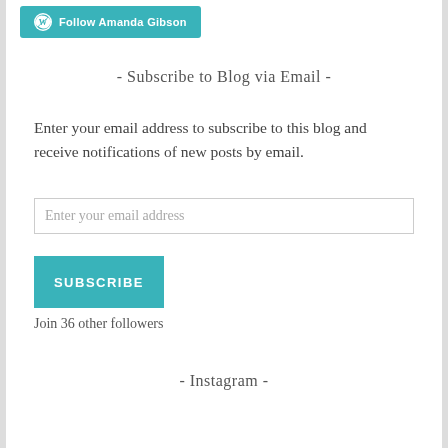[Figure (logo): WordPress follow button with teal background, white WordPress W logo, and text 'Follow Amanda Gibson']
- Subscribe to Blog via Email -
Enter your email address to subscribe to this blog and receive notifications of new posts by email.
[Figure (screenshot): Text input field with placeholder text 'Enter your email address']
[Figure (screenshot): Teal SUBSCRIBE button]
Join 36 other followers
- Instagram -